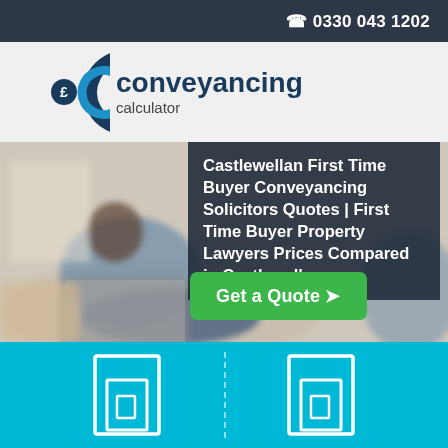☎ 0330 043 1202
[Figure (logo): Conveyancing Calculator logo with stylized C and pound sign icon]
Castlewellan First Time Buyer Conveyancing Solicitors Quotes | First Time Buyer Property Lawyers Prices Compared in Castlewellan
[Figure (photo): Person sitting on sofa using laptop computer, blurred background]
Get a Quote ❯
[Figure (illustration): Cyan section with two door/house outline icons separated by a dashed vertical divider line]